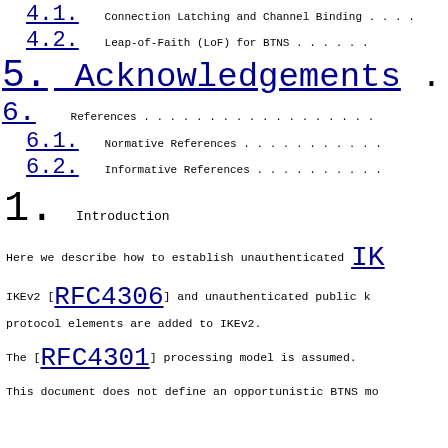4.1. Connection Latching and Channel Binding . . .
4.2. Leap-of-Faith (LoF) for BTNS . . . . . .
5. Acknowledgements . . .
6. References . . . . . . . . . . . . . . .
6.1. Normative References . . . . . . . . . .
6.2. Informative References . . . . . . . . .
1.  Introduction
Here we describe how to establish unauthenticated IKEv2 [RFC4306] and unauthenticated public key protocol elements are added to IKEv2.
The [RFC4301] processing model is assumed.
This document does not define an opportunistic BTNS mo